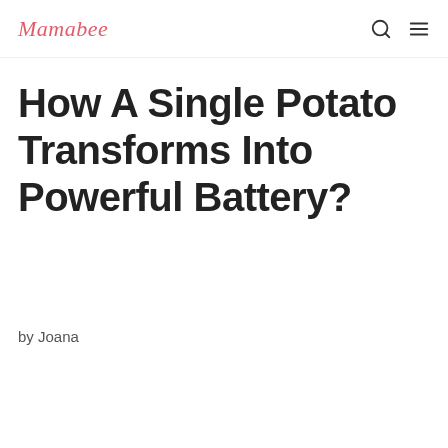Mamabee
How A Single Potato Transforms Into Powerful Battery?
by Joana